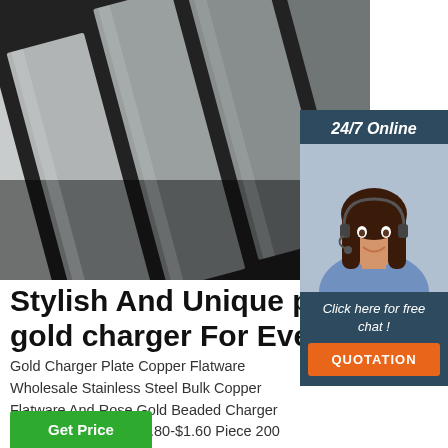[Figure (photo): Stainless steel flat bars/plates stacked on dark background]
[Figure (photo): 24/7 Online chat widget with female customer service agent wearing headset, 'Click here for free chat!' text, and orange QUOTATION button]
Stylish And Unique plate gold charger For Events
Gold Charger Plate Copper Flatware Wholesale Stainless Steel Bulk Copper Flatware And Rose Gold Beaded Charger Plate For Wedding $0.80-$1.60 Piece 200 Pieces (Min. Order)
[Figure (logo): TOP badge with dotted arc above text]
Get Price